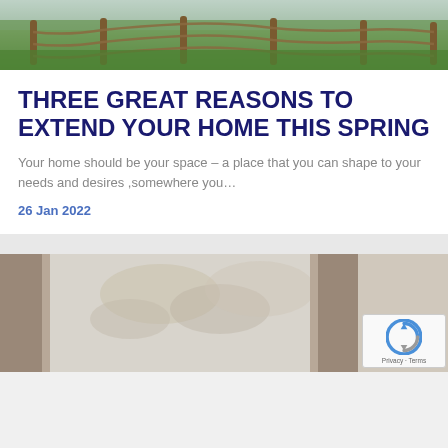[Figure (photo): Top portion of an outdoor photo showing a grassy area with wooden rope fence posts]
THREE GREAT REASONS TO EXTEND YOUR HOME THIS SPRING
Your home should be your space – a place that you can shape to your needs and desires ,somewhere you…
26 Jan 2022
[Figure (photo): Bottom portion showing a window or door frame with blurred trees/branches visible outside, with a reCAPTCHA widget overlay]